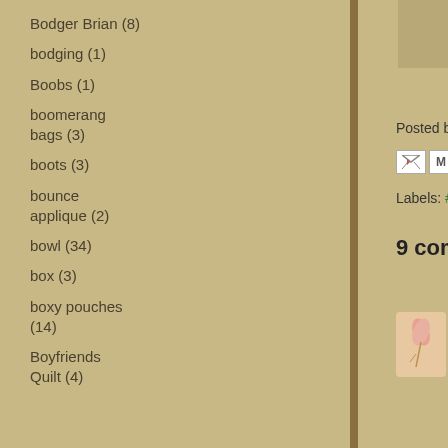Bodger Brian (8)
bodging (1)
Boobs (1)
boomerang bags (3)
boots (3)
bounce applique (2)
bowl (34)
box (3)
boxy pouches (14)
Boyfriends Quilt (4)
[Figure (photo): Decorative image at top of blog post]
Posted by Benta AtSLIKstitches at N
Labels: #Barbados, fabric, Holiday,
9 comments:
Sandra :) 11 January 2016 a
We have -17C with the wind... Barbados in a second if ... fabrics @ the bottom are p... that first one :) The back fabr... me glad I don't have my glas...